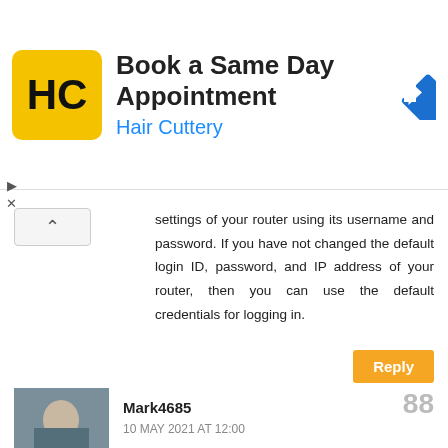[Figure (other): Hair Cuttery advertisement banner with HC logo, text 'Book a Same Day Appointment / Hair Cuttery' and a blue navigation arrow icon]
settings of your router using its username and password. If you have not changed the default login ID, password, and IP address of your router, then you can use the default credentials for logging in.
Reply
Mark4685   88
10 MAY 2021 AT 12:00
Consult cash app customer service team for quick solution:

The execution of the steps based on the helping factor will let you know grow to consult the cash